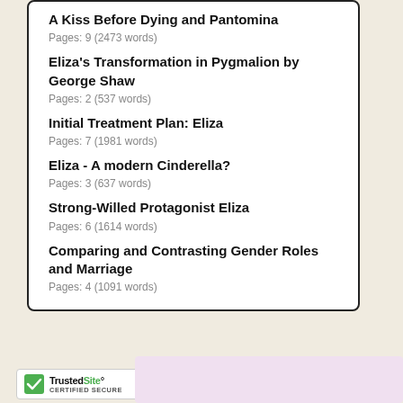A Kiss Before Dying and Pantomina
Pages: 9 (2473 words)
Eliza's Transformation in Pygmalion by George Shaw
Pages: 2 (537 words)
Initial Treatment Plan: Eliza
Pages: 7 (1981 words)
Eliza - A modern Cinderella?
Pages: 3 (637 words)
Strong-Willed Protagonist Eliza
Pages: 6 (1614 words)
Comparing and Contrasting Gender Roles and Marriage
Pages: 4 (1091 words)